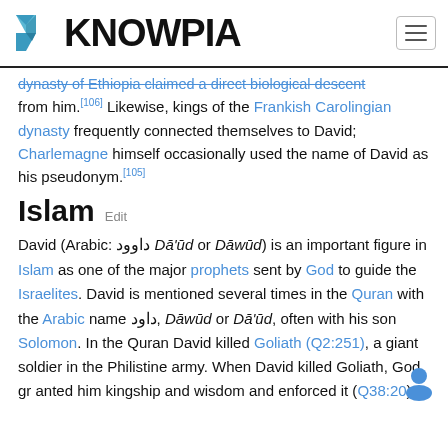KNOWPIA
dynasty of Ethiopia claimed a direct biological descent from him.[106] Likewise, kings of the Frankish Carolingian dynasty frequently connected themselves to David; Charlemagne himself occasionally used the name of David as his pseudonym.[105]
Islam  Edit
David (Arabic: داوود Dā'ūd or Dāwūd) is an important figure in Islam as one of the major prophets sent by God to guide the Israelites. David is mentioned several times in the Quran with the Arabic name داود, Dāwūd or Dā'ūd, often with his son Solomon. In the Quran David killed Goliath (Q2:251), a giant soldier in the Philistine army. When David killed Goliath, God granted him kingship and wisdom and enforced it (Q38:20).